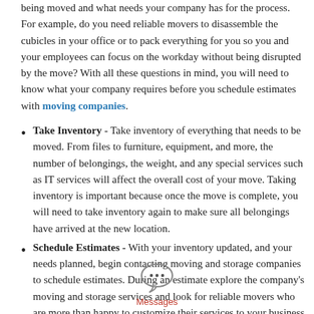being moved and what needs your company has for the process. For example, do you need reliable movers to disassemble the cubicles in your office or to pack everything for you so you and your employees can focus on the workday without being disrupted by the move? With all these questions in mind, you will need to know what your company requires before you schedule estimates with moving companies.
Take Inventory - Take inventory of everything that needs to be moved. From files to furniture, equipment, and more, the number of belongings, the weight, and any special services such as IT services will affect the overall cost of your move. Taking inventory is important because once the move is complete, you will need to take inventory again to make sure all belongings have arrived at the new location.
Schedule Estimates - With your inventory updated, and your needs planned, begin contacting moving and storage companies to schedule estimates. During an estimate explore the company's moving and storage services and look for reliable movers who are more than happy to customize their services to your business needs.
[Figure (illustration): Speech bubble icon with three dots (ellipsis) inside, representing a Messages app icon]
Messages